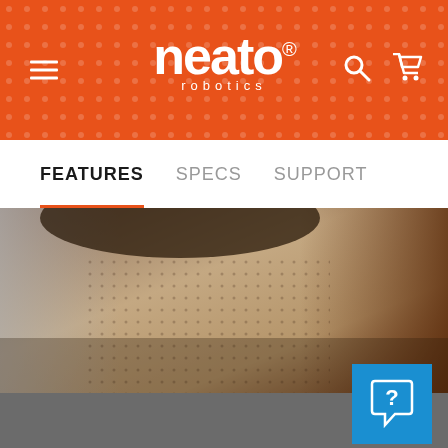Neato Robotics header navigation
FEATURES  SPECS  SUPPORT
[Figure (photo): Close-up photo of a person in a knit sweater resting on pillows]
[Figure (other): Blue help/chat button with question mark icon in bottom right corner]